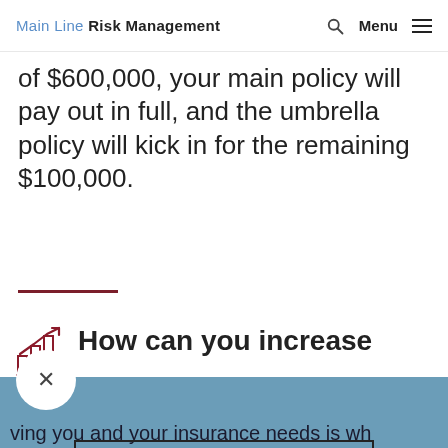Main Line Risk Management
of $600,000, your main policy will pay out in full, and the umbrella policy will kick in for the remaining $100,000.
How can you increase your personal liability limits?
ving you and your insurance needs is wh
Find Insurance
Contact Us